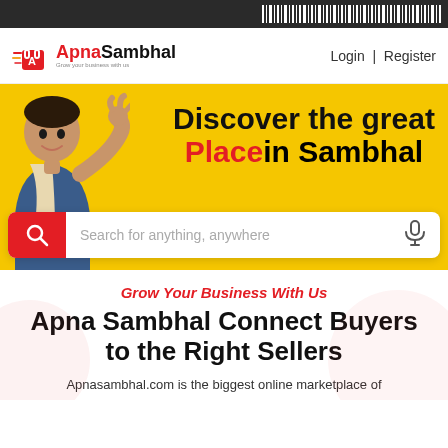[Figure (screenshot): Barcode strip at top of page on dark background]
[Figure (logo): ApnaSambhal logo with shopping bag icon, red A, black Sambhal text, and tagline]
Login | Register
[Figure (photo): Yellow hero banner with man making OK gesture, text 'Discover the great Placein Sambhal', and search bar with red search icon, placeholder 'Search for anything, anywhere', and microphone icon]
Grow Your Business With Us
Apna Sambhal Connect Buyers to the Right Sellers
Apnasambhal.com is the biggest online marketplace of